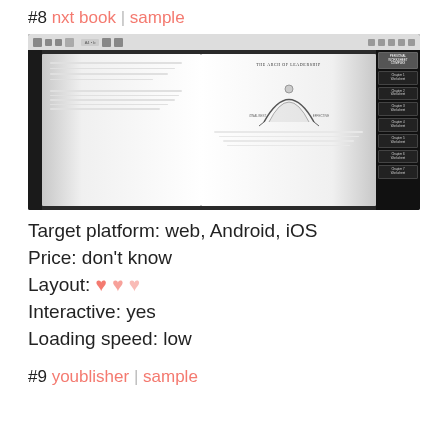#8 nxt book | sample
[Figure (screenshot): Screenshot of nxt book digital book reader showing an open book spread with 'THE ARCH OF LEADERSHIP' diagram on right page, navigation toolbar at top, and chapter worksheet sidebar tabs on right]
Target platform: web, Android, iOS
Price: don’t know
Layout: ♥ ♥ ♥
Interactive: yes
Loading speed: low
#9 youblisher | sample